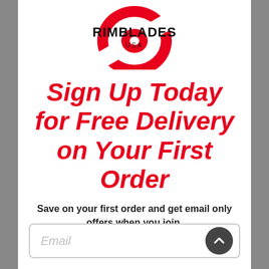[Figure (logo): RimBlades USA logo — stylized red circular arc/wheel shape behind bold black text reading RIMBLADES USA]
Sign Up Today for Free Delivery on Your First Order
Save on your first order and get email only offers when you join.
[Figure (other): Email input field with placeholder text 'Email' and a dark circular scroll-up button on the right]